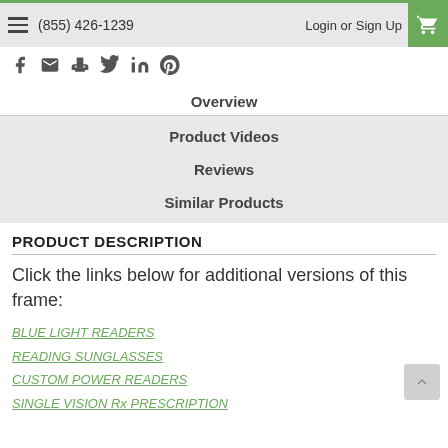(855) 426-1239  Login or Sign Up
Overview
Product Videos
Reviews
Similar Products
PRODUCT DESCRIPTION
Click the links below for additional versions of this frame:
BLUE LIGHT READERS
READING SUNGLASSES
CUSTOM POWER READERS
SINGLE VISION Rx PRESCRIPTION